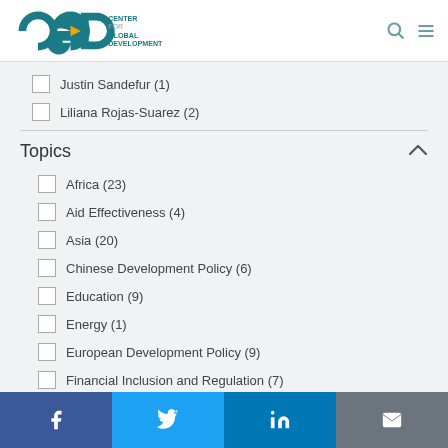Center for Global Development
Justin Sandefur (1)
Liliana Rojas-Suarez (2)
Topics
Africa (23)
Aid Effectiveness (4)
Asia (20)
Chinese Development Policy (6)
Education (9)
Energy (1)
European Development Policy (9)
Financial Inclusion and Regulation (7)
Gender Equality and Inclusion (7)
Facebook | Twitter | LinkedIn | Email